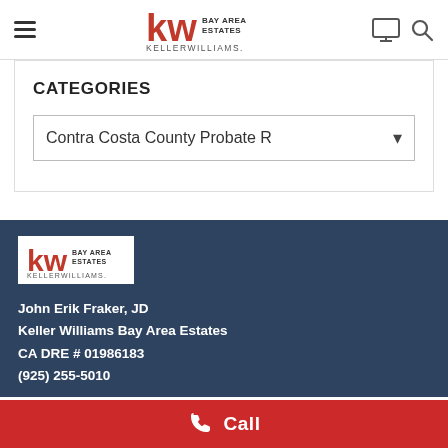KW Bay Area Estates Keller Williams — navigation header
CATEGORIES
Contra Costa County Probate R [dropdown]
[Figure (logo): KW Bay Area Estates Keller Williams logo in footer]
John Erik Fraker, JD
Keller Williams Bay Area Estates
CA DRE # 01986183
(925) 255-5010
Call